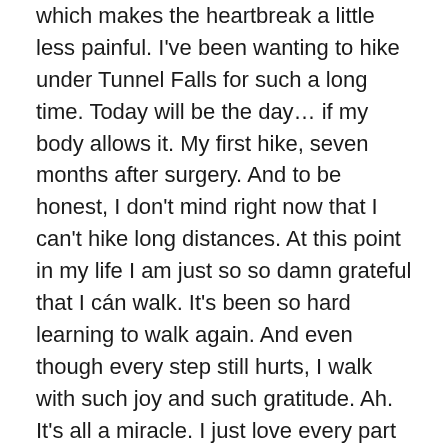which makes the heartbreak a little less painful. I've been wanting to hike under Tunnel Falls for such a long time. Today will be the day… if my body allows it. My first hike, seven months after surgery. And to be honest, I don't mind right now that I can't hike long distances. At this point in my life I am just so so damn grateful that I cán walk. It's been so hard learning to walk again. And even though every step still hurts, I walk with such joy and such gratitude. Ah. It's all a miracle. I just love every part of the movement. Lifting my leg, stretching it forward, putting my foot down, shifting my balance, … A fucking miracle… and hard work, but noone ever said miracles don't need to be worked for (or did someone, a well I guess someone did)…
My surgeon gave me his 'go' to start hiking, no heavy backpack though, and nothing above 9 miles. So we go for